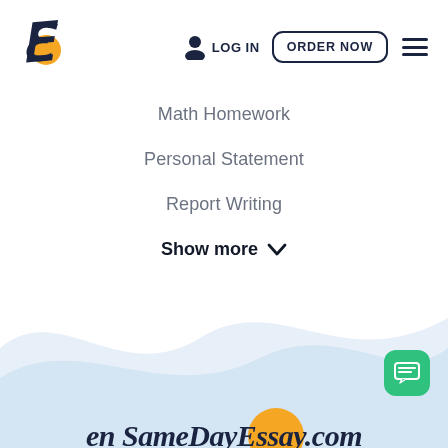[Figure (logo): Stylized cursive 'E' with yellow/orange circle, SameDayEssay logo]
LOG IN
ORDER NOW
Math Homework
Personal Statement
Report Writing
Show more ∨
[Figure (illustration): Light blue wavy background shape at the bottom of the page]
en SameDayEssay.com